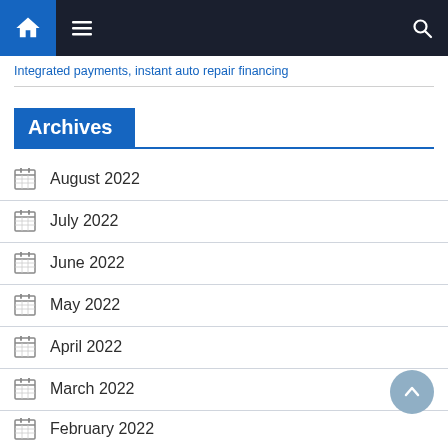navigation bar with home, menu, and search icons
Integrated payments, instant auto repair financing
Archives
August 2022
July 2022
June 2022
May 2022
April 2022
March 2022
February 2022